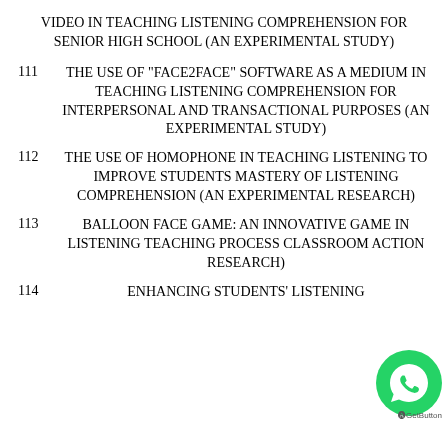VIDEO IN TEACHING LISTENING COMPREHENSION FOR SENIOR HIGH SCHOOL (AN EXPERIMENTAL STUDY)
111  THE USE OF "FACE2FACE" SOFTWARE AS A MEDIUM IN TEACHING LISTENING COMPREHENSION FOR INTERPERSONAL AND TRANSACTIONAL PURPOSES (AN EXPERIMENTAL STUDY)
112  THE USE OF HOMOPHONE IN TEACHING LISTENING TO IMPROVE STUDENTS MASTERY OF LISTENING COMPREHENSION (AN EXPERIMENTAL RESEARCH)
113  BALLOON FACE GAME: AN INNOVATIVE GAME IN LISTENING TEACHING PROCESS CLASSROOM ACTION RESEARCH)
114  ENHANCING STUDENTS' LISTENING